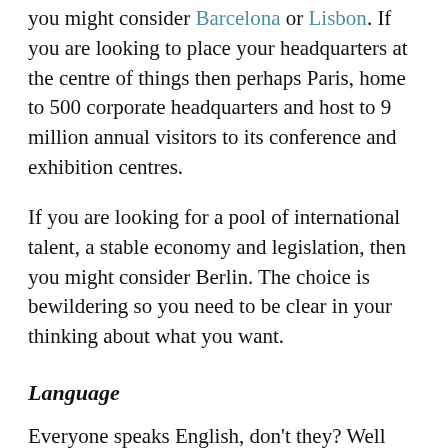you might consider Barcelona or Lisbon. If you are looking to place your headquarters at the centre of things then perhaps Paris, home to 500 corporate headquarters and host to 9 million annual visitors to its conference and exhibition centres.
If you are looking for a pool of international talent, a stable economy and legislation, then you might consider Berlin. The choice is bewildering so you need to be clear in your thinking about what you want.
Language
Everyone speaks English, don't they? Well maybe, post Brexit, perhaps not so much, and even if they do, they don't speak your English. Nuances of meaning are often lost on non-native speakers, however fluent they are, and this can lead to